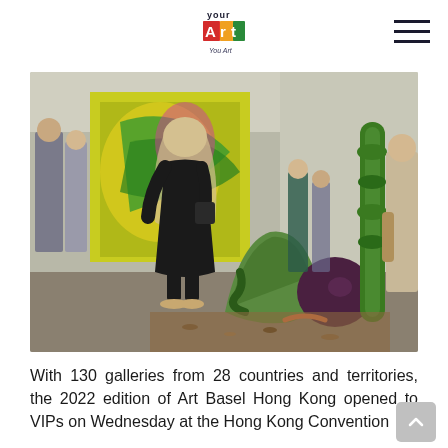Your Art
[Figure (photo): Interior view of Art Basel Hong Kong 2022 at the Hong Kong Convention Centre. Visitors walk among large sculptural artworks on the fair floor, including organic green and dark sculptural forms resembling plants and vegetables. Colorful abstract paintings are visible on the walls in the background.]
With 130 galleries from 28 countries and territories, the 2022 edition of Art Basel Hong Kong opened to VIPs on Wednesday at the Hong Kong Convention